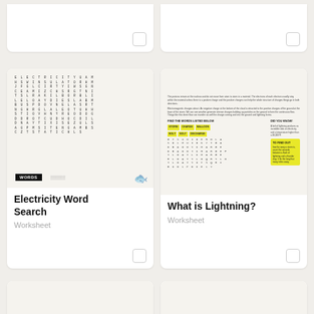[Figure (illustration): Partial card top - cropped card top row left]
[Figure (illustration): Partial card top - cropped card top row right]
[Figure (illustration): Electricity Word Search worksheet thumbnail with letter grid]
Electricity Word Search
Worksheet
[Figure (illustration): What is Lightning? worksheet thumbnail with text and word search grid]
What is Lightning?
Worksheet
[Figure (illustration): Electromagnet Word Search worksheet thumbnail with letter grid and device icons]
Electromagnet Word Search
[Figure (illustration): Simple Machines Word Search worksheet thumbnail with letter grid]
Simple Machines Word Search